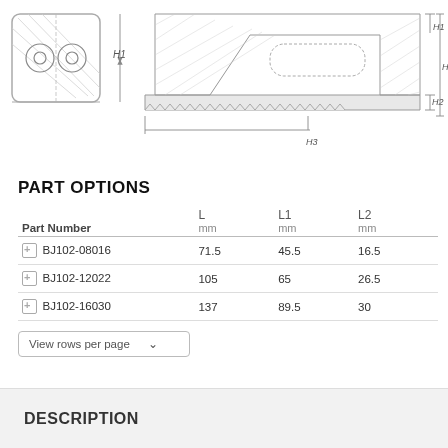[Figure (engineering-diagram): Technical engineering drawing showing a side bracket/clamp component from two views: front view (left, showing a square plate with two circular bolt holes and diagonal hatching) and side/profile view (right, showing the component's cross-section with dimension leaders H1, H2, H3, and H labeled).]
PART OPTIONS
| Part Number | L mm | L1 mm | L2 mm |
| --- | --- | --- | --- |
| BJ102-08016 | 71.5 | 45.5 | 16.5 |
| BJ102-12022 | 105 | 65 | 26.5 |
| BJ102-16030 | 137 | 89.5 | 30 |
View rows per page
DESCRIPTION